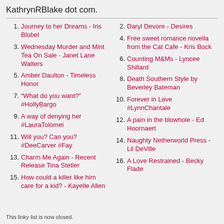KathrynRBlake dot com.
1. Journey to her Dreams - Iris Blobel
2. Daryl Devore - Desires
3. Wednesday Murder and Mint Tea On Sale - Janet Lane Walters
4. Free sweet romance novella from the Cat Cafe - Kris Bock
5. Amber Daulton - Timeless Honor
6. Counting M&Ms - Lyncee Shillard
7. “What do you want?” #HollyBargo
8. Death Southern Style by Beverley Bateman
9. A way of denying her #LauraTolomei
10. Forever in Love #LynnChantale
11. Will you? Can you? #DeeCarver #Fay
12. A pain in the blowhole - Ed Hoornaert
13. Charm Me Again - Recent Release Tina Stetler
14. Naughty Netherworld Press - Lil DeVille
15. How could a killer like him care for a kid? - Kayelle Allen
16. A Love Restrained - Becky Flade
This linky list is now closed.